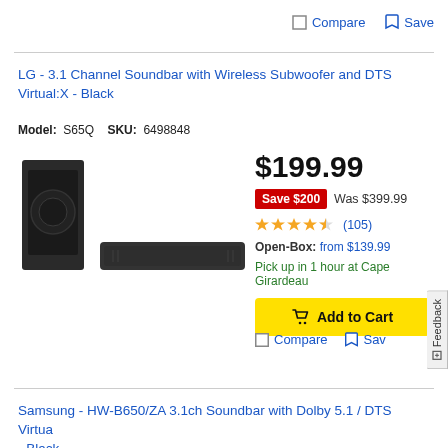Compare  Save
LG - 3.1 Channel Soundbar with Wireless Subwoofer and DTS Virtual:X - Black
Model: S65Q   SKU: 6498848
[Figure (photo): LG soundbar with wireless subwoofer, both in black]
$199.99
Save $200  Was $399.99
★★★★½ (105)
Open-Box: from $139.99
Pick up in 1 hour at Cape Girardeau
Add to Cart
Compare  Sav
Samsung - HW-B650/ZA 3.1ch Soundbar with Dolby 5.1 / DTS Virtual - Black